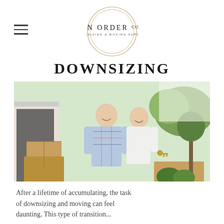IN ORDER CO. ORGANIZING & MOVING SUPPORT
DOWNSIZING
[Figure (photo): Middle-aged couple smiling in front of moving boxes outdoors, woman holding house keys]
After a lifetime of accumulating, the task of downsizing and moving can feel daunting. This type of transition...